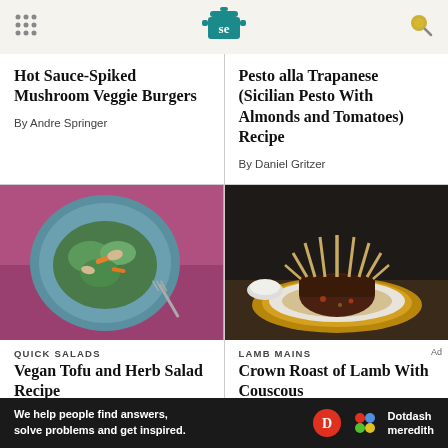Serious Eats (se logo)
Hot Sauce-Spiked Mushroom Veggie Burgers
By Andre Springer
Pesto alla Trapanese (Sicilian Pesto With Almonds and Tomatoes) Recipe
By Daniel Gritzer
[Figure (photo): Overhead shot of a colorful salad on a teal plate over a pink/magenta cloth, with a fork]
QUICK SALADS
Vegan Tofu and Herb Salad Recipe
By Sohla El-Waylly
[Figure (photo): Crown roast of lamb on a white plate with couscous and tall bones frenched outward, dark background]
LAMB MAINS
Crown Roast of Lamb With Couscous
Ad
We help people find answers, solve problems and get inspired. Dotdash meredith